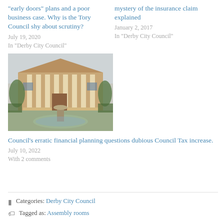“early doors” plans and a poor business case. Why is the Tory Council shy about scrutiny?
July 19, 2020
In "Derby City Council"
mystery of the insurance claim explained
January 2, 2017
In "Derby City Council"
[Figure (photo): A classical building with columns and a circular fountain in the foreground, surrounded by trees and gardens.]
Council’s erratic financial planning questions dubious Council Tax increase.
July 10, 2022
With 2 comments
Categories: Derby City Council
Tagged as: Assembly rooms